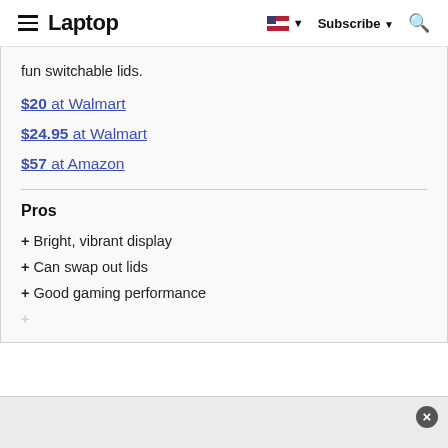Laptop
fun switchable lids.
$20 at Walmart
$24.95 at Walmart
$57 at Amazon
Pros
+ Bright, vibrant display
+ Can swap out lids
+ Good gaming performance